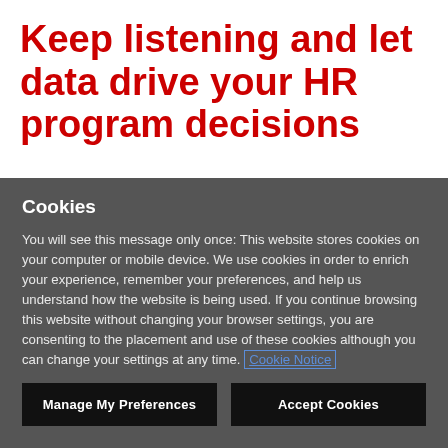Keep listening and let data drive your HR program decisions
Cookies
You will see this message only once: This website stores cookies on your computer or mobile device. We use cookies in order to enrich your experience, remember your preferences, and help us understand how the website is being used. If you continue browsing this website without changing your browser settings, you are consenting to the placement and use of these cookies although you can change your settings at any time. Cookie Notice